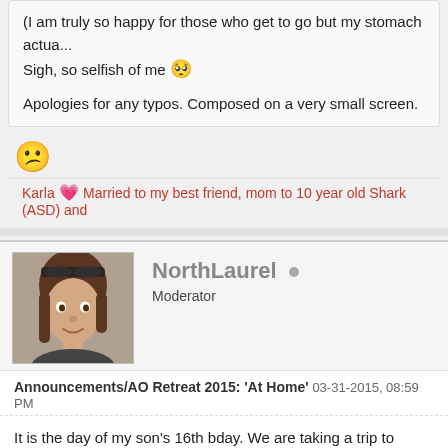(I am truly so happy for those who get to go but my stomach actua... Sigh, so selfish of me 🥺
Apologies for any typos. Composed on a very small screen.
[Figure (other): Confused/skeptical face emoji 😕]
Karla 💗 Married to my best friend, mom to 10 year old Shark (ASD) and
[Figure (photo): Profile photo of NorthLaurel, a woman with brown hair]
NorthLaurel  Moderator
Announcements/AO Retreat 2015: 'At Home' 03-31-2015, 08:59 PM
It is the day of my son's 16th bday. We are taking a trip to somewhere he'd really enjoy doing that on his special trip 🙂 I am not-so-secretly lol but that'd not change his bday.